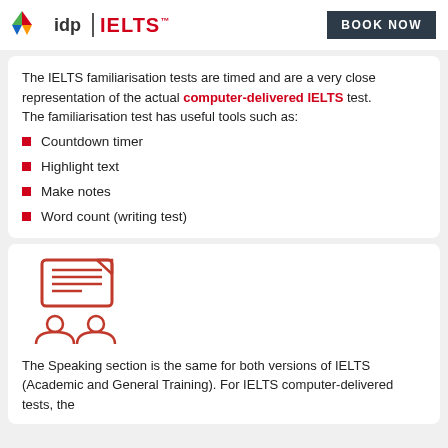idp | IELTS  BOOK NOW
The IELTS familiarisation tests are timed and are a very close representation of the actual computer-delivered IELTS test.
The familiarisation test has useful tools such as:
Countdown timer
Highlight text
Make notes
Word count (writing test)
[Figure (illustration): Red line icon showing two people in conversation with a document/screen behind them, representing a speaking test or interview.]
The Speaking section is the same for both versions of IELTS (Academic and General Training). For IELTS computer-delivered tests, the